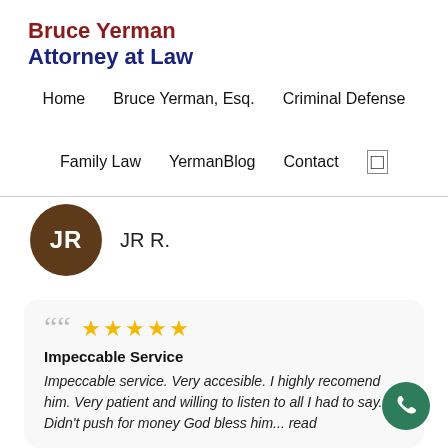Bruce Yerman Attorney at Law
Home   Bruce Yerman, Esq.   Criminal Defense   Family Law   YermanBlog   Contact
[Figure (illustration): Brown circular avatar with white initials JR, representing reviewer JR R.]
JR R.
Impeccable Service
Impeccable service. Very accesible. I highly recomend him. Very patient and willing to listen to all I had to say. Didn't push for money God bless him... read